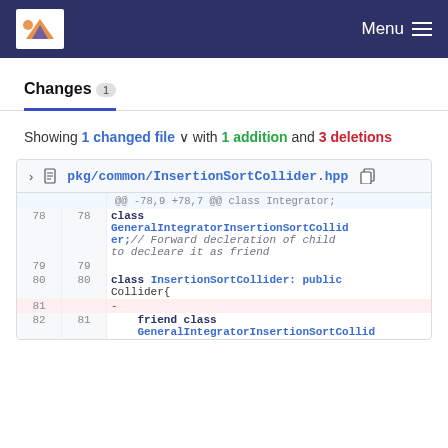Menu
Changes 1
Showing 1 changed file with 1 addition and 3 deletions
| old | new | code |
| --- | --- | --- |
| ... | ... | @@ -78,9 +78,7 @@ class Integrator; |
| 78 | 78 | class GeneralIntegratorInsertionSortCollider;// Forward decleration of child to decleare it as friend |
| 79 | 79 |  |
| 80 | 80 | class InsertionSortCollider: public Collider{ |
| 81 |  | - |
| 82 | 81 |     friend class GeneralIntegratorInsertionSortCollid |